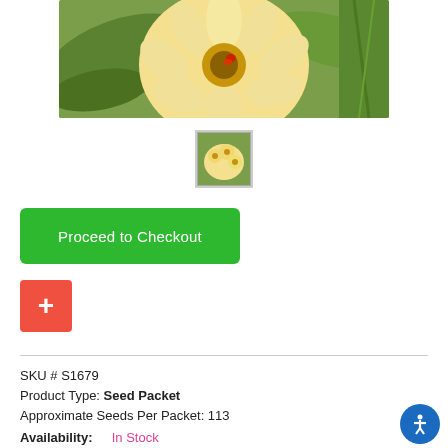[Figure (photo): Close-up photo of yellow/cream chrysanthemum flowers with green foliage in the background]
[Figure (photo): Small thumbnail of yellow flowers, with a border indicating it is selected]
Proceed to Checkout
+
SKU # S1679
Product Type: Seed Packet
Approximate Seeds Per Packet: 113
Availability: In Stock